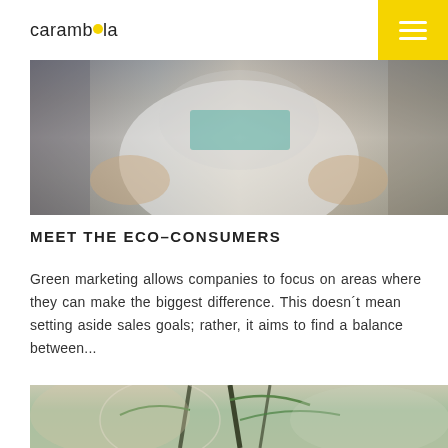carambola
[Figure (photo): Close-up photo of a person wearing a white t-shirt with teal/cyan text, arms at sides, outdoor background]
MEET THE ECO-CONSUMERS
Green marketing allows companies to focus on areas where they can make the biggest difference. This doesn´t mean setting aside sales goals; rather, it aims to find a balance between...
[Figure (photo): Close-up photo of green plant stems/grass with blurred background]